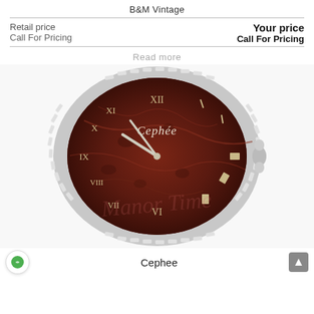B&M Vintage
Retail price
Call For Pricing
Your price
Call For Pricing
Read  more
[Figure (photo): Close-up of a Cephee luxury watch with a dark reddish-brown marble dial, silver Roman numeral hour markers, baguette diamond bezel, and silver hands. A watermark in italic script is overlaid on the image.]
Cephee